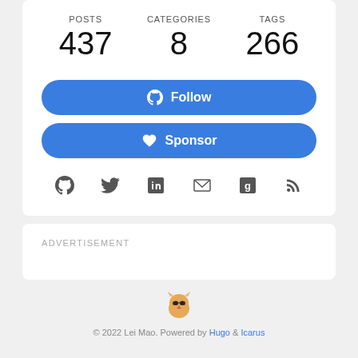POSTS 437  CATEGORIES 8  TAGS 266
Follow
Sponsor
[Figure (infographic): Row of 6 social media icons: GitHub, Twitter, LinkedIn, Email, Google+, RSS]
ADVERTISEMENT
[Figure (illustration): Small cartoon cat face emoji]
© 2022 Lei Mao. Powered by Hugo & Icarus